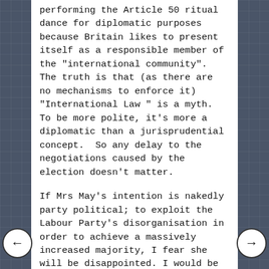performing the Article 50 ritual dance for diplomatic purposes because Britain likes to present itself as a responsible member of the "international community". The truth is that (as there are no mechanisms to enforce it) "International Law " is a myth. To be more polite, it's more a diplomatic than a jurisprudential concept. So any delay to the negotiations caused by the election doesn't matter.
If Mrs May's intention is nakedly party political; to exploit the Labour Party's disorganisation in order to achieve a massively increased majority, I fear she will be disappointed. I would be delighted to see the Labour Party leave the political stage forever but there is no obvious understudy in the wings and a good 40% of the population is